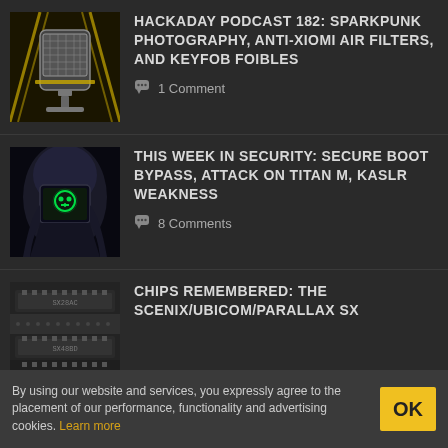[Figure (illustration): Podcast microphone illustration with yellow/golden art deco style on dark background]
HACKADAY PODCAST 182: SPARKPUNK PHOTOGRAPHY, ANTI-XIOMI AIR FILTERS, AND KEYFOB FOIBLES
1 Comment
[Figure (illustration): Dark hooded figure with glowing green skull icon on monitor face, security-themed]
THIS WEEK IN SECURITY: SECURE BOOT BYPASS, ATTACK ON TITAN M, KASLR WEAKNESS
8 Comments
[Figure (photo): Close-up photo of integrated circuit chips on a circuit board]
CHIPS REMEMBERED: THE SCENIX/UBICOM/PARALLAX SX
By using our website and services, you expressly agree to the placement of our performance, functionality and advertising cookies. Learn more